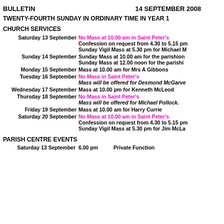BULLETIN   14 SEPTEMBER 2008
TWENTY-FOURTH SUNDAY IN ORDINARY TIME IN YEAR 1
CHURCH SERVICES
Saturday 13 September  No Mass at 10.00 am in Saint Peter's  Confession on request from 4.30 to 5.15 pm  Sunday Vigil Mass at 5.30 pm for Michael M
Sunday 14 September  Sunday Mass at 10.00 am for the parishioners  Sunday Mass at 12.00 noon for the parishioners
Monday 15 September  Mass at 10.00 am for Mrs A Gibbons
Tuesday 16 September  No Mass in Saint Peter's  Mass will be offered for Desmond McGarve
Wednesday 17 September  Mass at 10.00 pm for Kenneth McLeod
Thursday 18 September  No Mass in Saint Peter's  Mass will be offered for Michael Pollock.
Friday 19 September  Mass at 10.00 am for Harry Currie
Saturday 20 September  No Mass at 10.00 am in Saint Peter's  Confession on request from 4.30 to 5.15 pm  Sunday Vigil Mass at 5.30 pm for Jim McLa
PARISH CENTRE EVENTS
Saturday 13 September  6.00 pm  Private Function